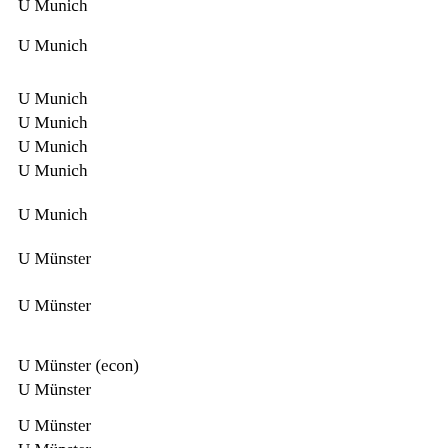U Munich
U Munich
U Munich
U Munich
U Munich
U Munich
U Munich
U Münster
U Münster
U Münster (econ)
U Münster
U Münster
U Münster